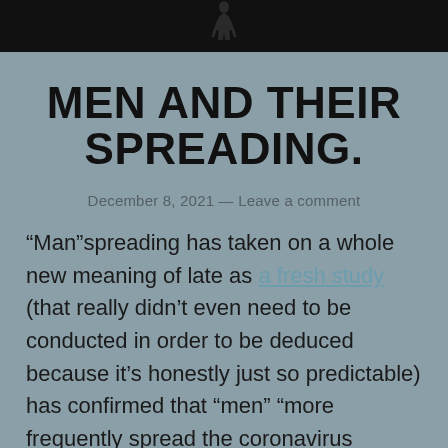[Figure (photo): Dark banner at top of page with a partial silhouette figure visible against black background]
MEN AND THEIR SPREADING.
December 8, 2021 — Leave a comment
“Man”spreading has taken on a whole new meaning of late as a fresh study (that really didn’t even need to be conducted in order to be deduced because it’s honestly just so predictable) has confirmed that “men” “more frequently spread the coronavirus particles than women or children.” Surely, one doesn’t need all the gory details regarding “how”